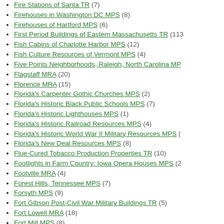Fire Stations of Santa TR (7)
Firehouses in Washington DC MPS (8)
Firehouses of Hartford MPS (6)
First Period Buildings of Eastern Massachusetts TR (113)
Fish Cabins of Charlotte Harbor MPS (12)
Fish Culture Resources of Vermont MPS (4)
Five Points Neighborhoods, Raleigh, North Carolina MPS
Flagstaff MRA (20)
Florence MRA (15)
Florida's Carpenter Gothic Churches MPS (2)
Florida's Historic Black Public Schools MPS (7)
Florida's Historic Lighthouses MPS (1)
Florida's Historic Railroad Resources MPS (4)
Florida's Historic World War II Military Resources MPS
Florida's New Deal Resources MPS (8)
Flue-Cured Tobacco Production Properties TR (10)
Footlights in Farm Country: Iowa Opera Houses MPS (2...)
Footville MRA (4)
Forest Hills, Tennessee MPS (7)
Forsyth MPS (9)
Fort Gibson Post-Civil War Military Buildings TR (5)
Fort Lowell MRA (18)
Fort Mill MPS (8)
Fort Mitchell MPS (5)
Fort Peck MRA (7)
Fostor MPS (2)